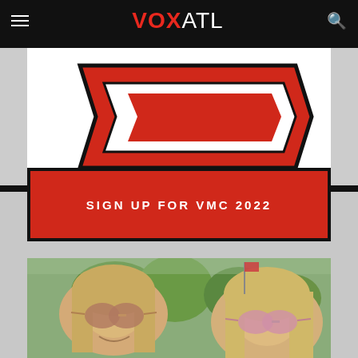VOX ATL
[Figure (illustration): VOX ATL logo with red arrow/chevron swoosh graphic on grey/white background]
SIGN UP FOR VMC 2022
[Figure (photo): Two young women with long blonde hair wearing sunglasses smiling outdoors in a park, trees visible in background]